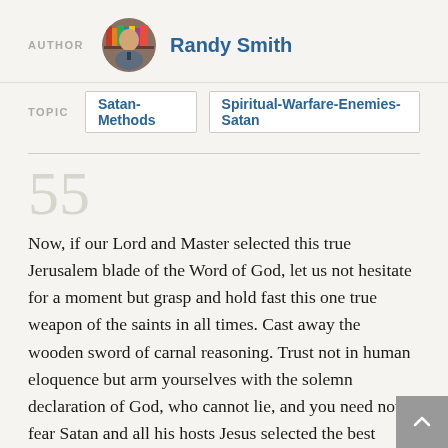AUTHOR  Randy Smith
TOPIC  Satan-Methods  Spiritual-Warfare-Enemies-Satan
55
Now, if our Lord and Master selected this true Jerusalem blade of the Word of God, let us not hesitate for a moment but grasp and hold fast this one true weapon of the saints in all times. Cast away the wooden sword of carnal reasoning. Trust not in human eloquence but arm yourselves with the solemn declaration of God, who cannot lie, and you need not fear Satan and all his hosts Jesus selected the best weapon. What was best for Him is